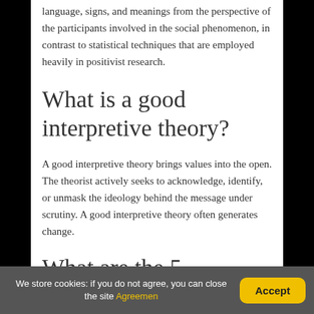language, signs, and meanings from the perspective of the participants involved in the social phenomenon, in contrast to statistical techniques that are employed heavily in positivist research.
What is a good interpretive theory?
A good interpretive theory brings values into the open. The theorist actively seeks to acknowledge, identify, or unmask the ideology behind the message under scrutiny. A good interpretive theory often generates change.
What are the 5
We store cookies: if you do not agree, you can close the site Agreemen